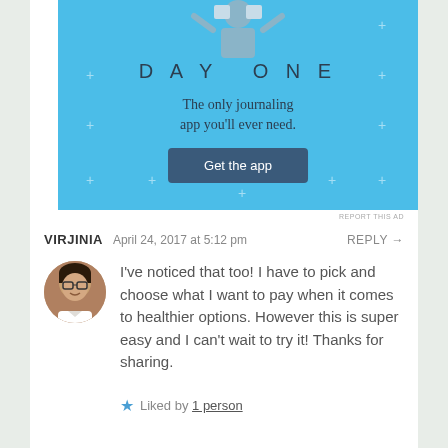[Figure (illustration): DAY ONE app advertisement banner with light blue background, sparkle decorations, illustration of person holding puzzle piece, bold spaced title 'DAY ONE', subtitle 'The only journaling app you'll ever need.', and a dark blue 'Get the app' button.]
REPORT THIS AD
VIRJINIA   April 24, 2017 at 5:12 pm   REPLY →
I've noticed that too! I have to pick and choose what I want to pay when it comes to healthier options. However this is super easy and I can't wait to try it! Thanks for sharing.
★ Liked by 1 person